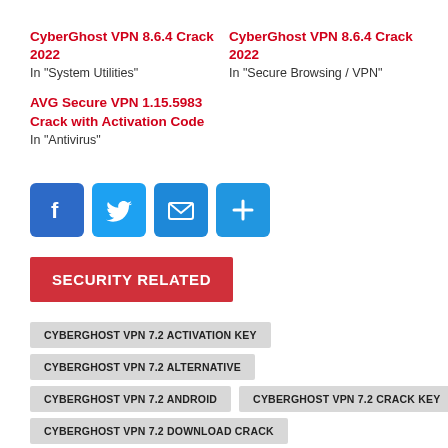CyberGhost VPN 8.6.4 Crack 2022
In "System Utilities"
CyberGhost VPN 8.6.4 Crack 2022
In "Secure Browsing / VPN"
AVG Secure VPN 1.15.5983 Crack with Activation Code
In "Antivirus"
[Figure (infographic): Social share buttons: Facebook, Twitter, Email, More]
SECURITY RELATED
CYBERGHOST VPN 7.2 ACTIVATION KEY
CYBERGHOST VPN 7.2 ALTERNATIVE
CYBERGHOST VPN 7.2 ANDROID
CYBERGHOST VPN 7.2 CRACK KEY
CYBERGHOST VPN 7.2 DOWNLOAD CRACK
CYBERGHOST VPN 7.2 DOWNLOAD FULL